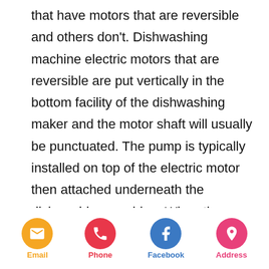that have motors that are reversible and others don't. Dishwashing machine electric motors that are reversible are put vertically in the bottom facility of the dishwashing maker and the motor shaft will usually be punctuated. The pump is typically installed on top of the electric motor then attached underneath the dishwashing machine. When the motor runs one way, it drains pipes the water, when it runs the various other ways, it
Email | Phone | Facebook | Address